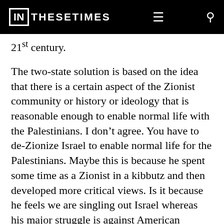IN THESE TIMES
21st century.
The two-state solution is based on the idea that there is a certain aspect of the Zionist community or history or ideology that is reasonable enough to enable normal life with the Palestinians. I don’t agree. You have to de-Zionize Israel to enable normal life for the Palestinians. Maybe this is because he spent some time as a Zionist in a kibbutz and then developed more critical views. Is it because he feels we are singling out Israel whereas his major struggle is against American imperialism? And thirdly, people can become captivated by formulas such as the two-state solution if they devote so much of their life to defending it. It’s very hard to put that aside suddenly